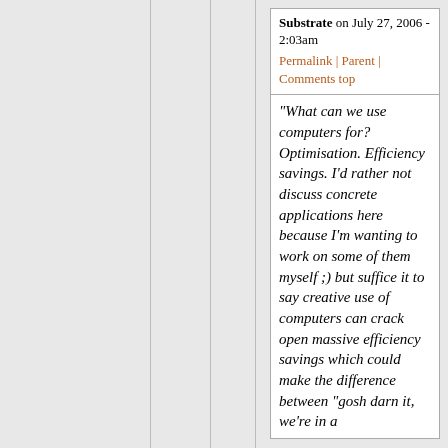Substrate on July 27, 2006 - 2:03am Permalink | Parent | Comments top
"What can we use computers for? Optimisation. Efficiency savings. I'd rather not discuss concrete applications here because I'm wanting to work on some of them myself ;) but suffice it to say creative use of computers can crack open massive efficiency savings which could make the difference between "gosh darn it, we're in a